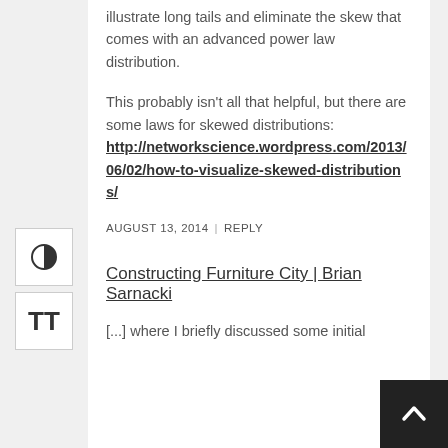illustrate long tails and eliminate the skew that comes with an advanced power law distribution.
This probably isn't all that helpful, but there are some laws for skewed distributions: http://networkscience.wordpress.com/2013/06/02/how-to-visualize-skewed-distributions/
AUGUST 13, 2014 | REPLY
Constructing Furniture City | Brian Sarnacki
[...] where I briefly discussed some initial